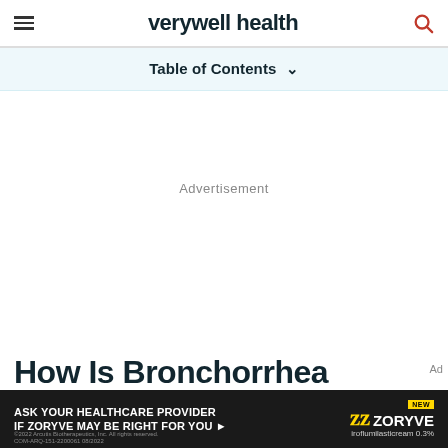verywell health
Table of Contents
Advertisement
How Is Bronchorrhea
ASK YOUR HEALTHCARE PROVIDER IF ZORYVE MAY BE RIGHT FOR YOU — ZORYVE iroflumilasticream 0.3%